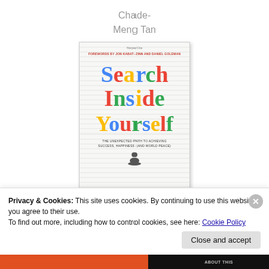Chade-
Meng Tan
[Figure (illustration): Book cover of 'Search Inside Yourself' by Chade-Meng Tan, with colorful Google-style lettering and subtitle 'The Unexpected Path to Achieving Success, Happiness (and World Peace)'. Forewords by Jon Kabat-Zinn and Daniel Goleman.]
Privacy & Cookies: This site uses cookies. By continuing to use this website, you agree to their use.
To find out more, including how to control cookies, see here: Cookie Policy
Close and accept